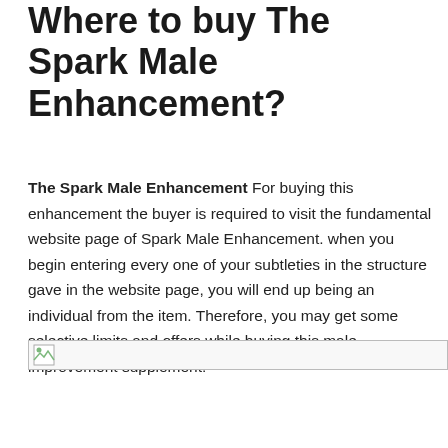Where to buy The Spark Male Enhancement?
The Spark Male Enhancement For buying this enhancement the buyer is required to visit the fundamental website page of Spark Male Enhancement. when you begin entering every one of your subtleties in the structure gave in the website page, you will end up being an individual from the item. Therefore, you may get some selective limits and offers while buying this male improvement supplement.
[Figure (other): Broken image placeholder icon]